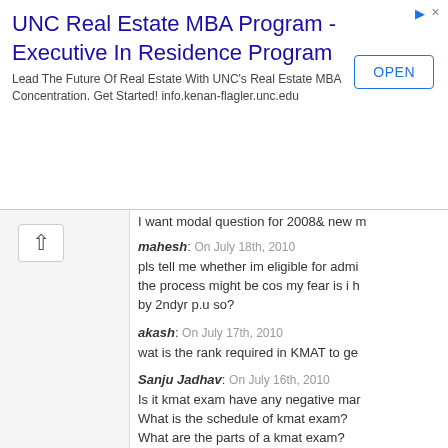[Figure (screenshot): Advertisement banner for UNC Real Estate MBA Program - Executive In Residence Program with OPEN button]
I want modal question for 2008& new m
mahesh: On July 18th, 2010
pls tell me whether im eligible for admi the process might be cos my fear is i h by 2ndyr p.u so?
akash: On July 17th, 2010
wat is the rank required in KMAT to ge
Sanju Jadhav: On July 16th, 2010
Is it kmat exam have any negative mar What is the schedule of kmat exam? What are the parts of a kmat exam? I want last 2 years question papers ple
neyaz raaz: On July 16th, 2010
hiiii sir plz
I want to previous 5 year question and
ORRA: On July 5th, 2010
Hi can you pls help with MBA K.M.A.T